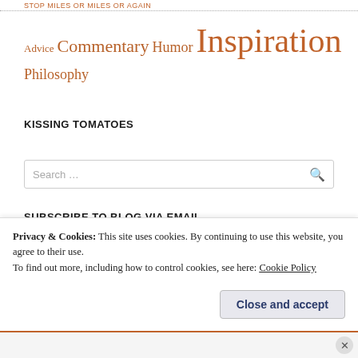STOP MILES OR MILES OR AGAIN
Advice Commentary Humor Inspiration Philosophy
KISSING TOMATOES
Search ...
SUBSCRIBE TO BLOG VIA EMAIL
Privacy & Cookies: This site uses cookies. By continuing to use this website, you agree to their use.
To find out more, including how to control cookies, see here: Cookie Policy
Close and accept